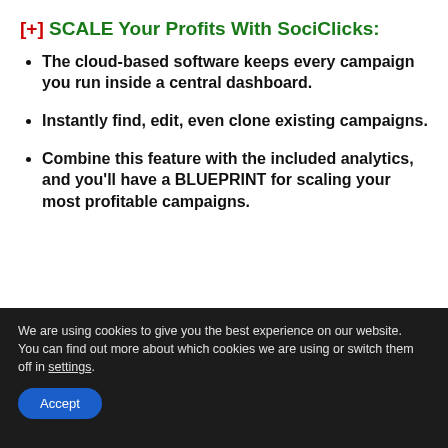[+] SCALE Your Profits With SociClicks:
The cloud-based software keeps every campaign you run inside a central dashboard.
Instantly find, edit, even clone existing campaigns.
Combine this feature with the included analytics, and you'll have a BLUEPRINT for scaling your most profitable campaigns.
We are using cookies to give you the best experience on our website.
You can find out more about which cookies we are using or switch them off in settings.
Accept